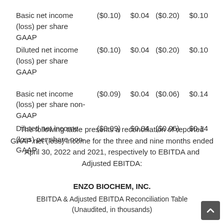|  |  |  |  |  |
| --- | --- | --- | --- | --- |
| Basic net income (loss) per share GAAP | ($0.10) | $0.04 | ($0.20) | $0.10 |
| Diluted net income (loss) per share GAAP | ($0.10) | $0.04 | ($0.20) | $0.10 |
| Basic net income (loss) per share non-GAAP | ($0.09) | $0.04 | ($0.06) | $0.14 |
| Diluted net income (loss) per share non-GAAP | ($0.09) | $0.04 | ($0.06) | $0.14 |
The following table presents a reconciliation of reported GAAP net (loss) income for the three and nine months ended April 30, 2022 and 2021, respectively to EBITDA and Adjusted EBITDA:
ENZO BIOCHEM, INC.
EBITDA & Adjusted EBITDA Reconciliation Table (Unaudited, in thousands)